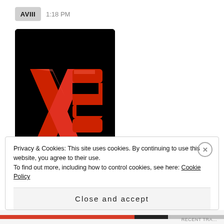AVIII   1:18 PM
[Figure (logo): XS Project logo on black background with red stylized text 'XS' large and 'PROJECT' below in red block letters. Below the image shows label 'Bochka, Bass, Kolbaser' with a + button.]
Privacy & Cookies: This site uses cookies. By continuing to use this website, you agree to their use.
To find out more, including how to control cookies, see here: Cookie Policy
Close and accept